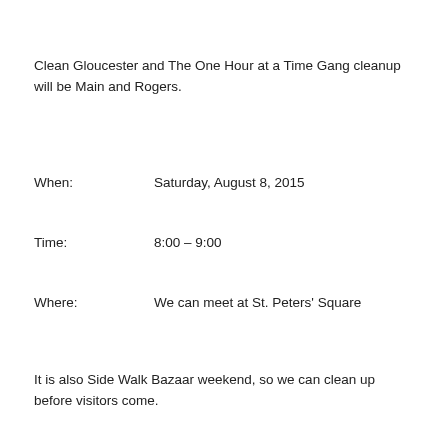Clean Gloucester and The One Hour at a Time Gang cleanup will be Main and Rogers.
When:    Saturday, August 8, 2015
Time:    8:00 – 9:00
Where:    We can meet at St. Peters' Square
It is also Side Walk Bazaar weekend, so we can clean up before visitors come.